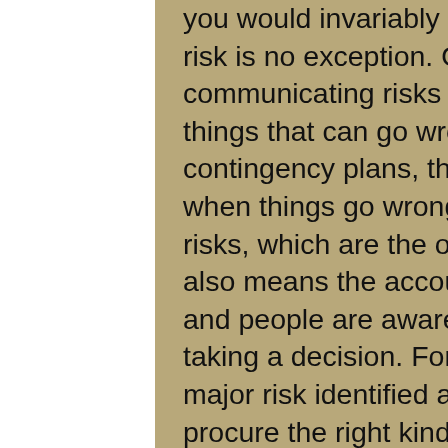you would invariably add – 'please communicate'. So, risk is no exception. One of the positive things about communicating risks is that people are aware of the things that can go wrong and when you present your contingency plans, they know that you're ready to tackle when things go wrong. So, the risks become calculated risks, which are the ones that projects need to take. It also means the accountability is spread across the team and people are aware of the things to consider before taking a decision. For e.g. during a project kick-off, a major risk identified about having insufficient budget to procure the right kind of hardware could make the customer rethink about going ahead with the project. Maybe, he would defer it till the budget is made available. Although, it may appear to be a failure, it would work out in the long-term, because the project may not yield the expected results with out of date hardware.
This handy checklist should help you deal